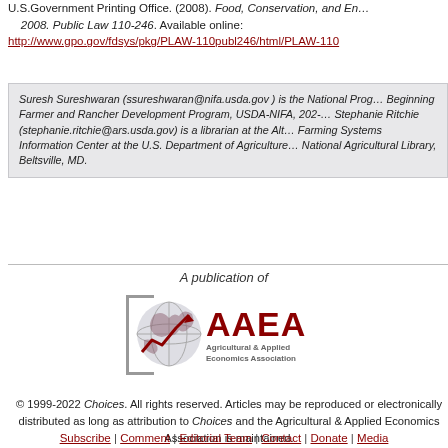U.S.Government Printing Office. (2008). Food, Conservation, and Energy Act 2008. Public Law 110-246. Available online: http://www.gpo.gov/fdsys/pkg/PLAW-110publ246/html/PLAW-110...
Suresh Sureshwaran (ssureshwaran@nifa.usda.gov) is the National Program Leader, Beginning Farmer and Rancher Development Program, USDA-NIFA, 202-... Stephanie Ritchie (stephanie.ritchie@ars.usda.gov) is a librarian at the Alternative Farming Systems Information Center at the U.S. Department of Agriculture's National Agricultural Library, Beltsville, MD.
A publication of
[Figure (logo): AAEA Agricultural & Applied Economics Association logo with globe and chart graphic]
© 1999-2022 Choices. All rights reserved. Articles may be reproduced or electronically distributed as long as attribution to Choices and the Agricultural & Applied Economics Association is maintained.
Subscribe | Comment | Editorial Team | Contact | Donate | Media